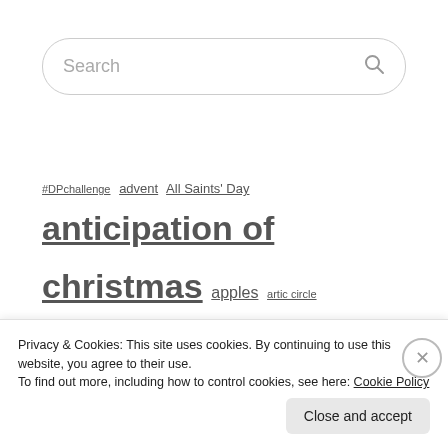[Figure (screenshot): Search bar with placeholder text 'Search' and a magnifying glass icon]
#DPchallenge advent All Saints' Day anticipation of christmas apples artic circle autumn baptism berries berry picking birthday birthday parties birthday party blueberries breakfast brunch cabana de empanadas celebrations children chocolate
Privacy & Cookies: This site uses cookies. By continuing to use this website, you agree to their use.
To find out more, including how to control cookies, see here: Cookie Policy
Close and accept